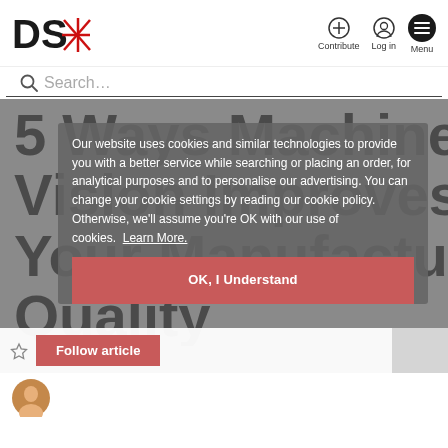[Figure (logo): DS with red star/asterisk logo]
Contribute  Log in  Menu
Search...
5 Ways Machine Vision Improves Your Manufacturing Quality
Our website uses cookies and similar technologies to provide you with a better service while searching or placing an order, for analytical purposes and to personalise our advertising. You can change your cookie settings by reading our cookie policy. Otherwise, we'll assume you're OK with our use of cookies. Learn More.
OK, I Understand
Follow article